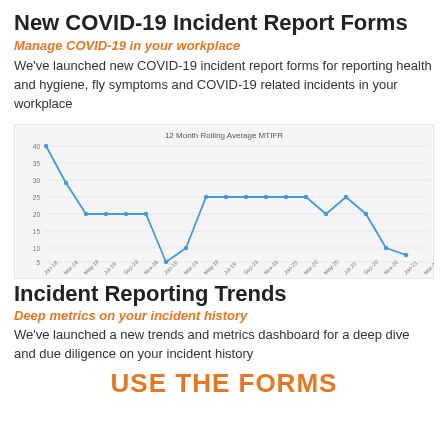New COVID-19 Incident Report Forms
Manage COVID-19 in your workplace
We've launched new COVID-19 incident report forms for reporting health and hygiene, fly symptoms and COVID-19 related incidents in your workplace
[Figure (line-chart): Line chart showing 12 Month Rolling Average MTIFR over time, with values starting high (~40), dropping to a low (~5), rising to a plateau (~27), dipping again, then ending low (~8)]
Incident Reporting Trends
Deep metrics on your incident history
We've launched a new trends and metrics dashboard for a deep dive and due diligence on your incident history
USE THE FORMS